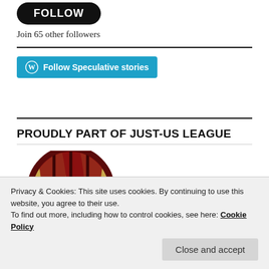[Figure (logo): Black rounded rectangle button with white bold text 'FOLLOW']
Join 65 other followers
[Figure (logo): Blue button with WordPress icon and text 'Follow Speculative stories']
PROUDLY PART OF JUST-US LEAGUE
[Figure (logo): Circular logo with dark red and gold basketball-like design for Just-Us League]
Privacy & Cookies: This site uses cookies. By continuing to use this website, you agree to their use.
To find out more, including how to control cookies, see here: Cookie Policy